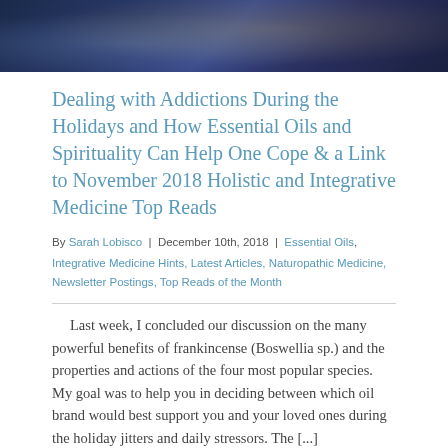[Figure (photo): Hero image with dark blue background and abstract/figure imagery]
Dealing with Addictions During the Holidays and How Essential Oils and Spirituality Can Help One Cope & a Link to November 2018 Holistic and Integrative Medicine Top Reads
By Sarah Lobisco | December 10th, 2018 | Essential Oils, Integrative Medicine Hints, Latest Articles, Naturopathic Medicine, Newsletter Postings, Top Reads of the Month
Last week, I concluded our discussion on the many powerful benefits of frankincense (Boswellia sp.) and the properties and actions of the four most popular species. My goal was to help you in deciding between which oil brand would best support you and your loved ones during the holiday jitters and daily stressors. The [...]